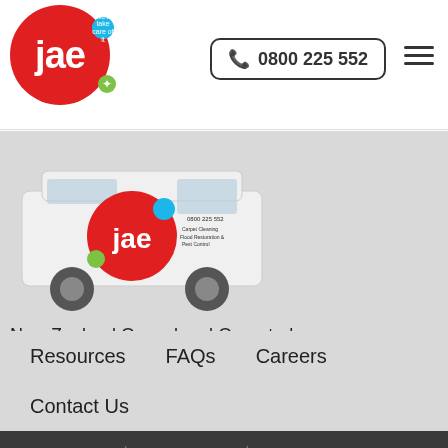[Figure (logo): JAE logo - red circle with white 'jae' text, blue dot top right, green star bottom right]
0800 225 552
[Figure (photo): JAE branded white van with red circle logo and company information on the side]
New Zealand Owned and Operated
Resources
FAQs
Careers
Contact Us
Carpet Cleaning
Stain Treatment
Upholstery & Leather Cleaning
Rug Cleaning
Fabric Protection
Odour Treatments
Pest Control
Flood Restoration
Fire & Smoke Restoration